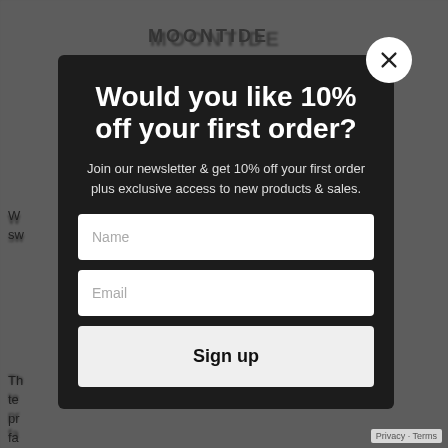[Figure (screenshot): Newsletter signup modal popup overlaid on a clothing/fashion website. The modal has a dark background with a close (X) button in the top-right corner. It contains a headline offering 10% off the first order, a subtitle about joining the newsletter, a Name input field, an Email input field, and a Sign up button. Behind the modal, partial text from the website page is visible.]
Would you like 10% off your first order?
Join our newsletter & get 10% off your first order plus exclusive access to new products & sales.
Sign up
Privacy · Terms